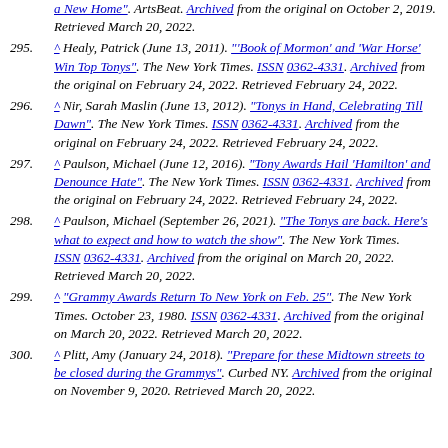(continuation) a New Home". ArtsBeat. Archived from the original on October 2, 2019. Retrieved March 20, 2022.
295. ^ Healy, Patrick (June 13, 2011). "'Book of Mormon' and 'War Horse' Win Top Tonys". The New York Times. ISSN 0362-4331. Archived from the original on February 24, 2022. Retrieved February 24, 2022.
296. ^ Nir, Sarah Maslin (June 13, 2012). "Tonys in Hand, Celebrating Till Dawn". The New York Times. ISSN 0362-4331. Archived from the original on February 24, 2022. Retrieved February 24, 2022.
297. ^ Paulson, Michael (June 12, 2016). "Tony Awards Hail 'Hamilton' and Denounce Hate". The New York Times. ISSN 0362-4331. Archived from the original on February 24, 2022. Retrieved February 24, 2022.
298. ^ Paulson, Michael (September 26, 2021). "The Tonys are back. Here's what to expect and how to watch the show". The New York Times. ISSN 0362-4331. Archived from the original on March 20, 2022. Retrieved March 20, 2022.
299. ^ "Grammy Awards Return To New York on Feb. 25". The New York Times. October 23, 1980. ISSN 0362-4331. Archived from the original on March 20, 2022. Retrieved March 20, 2022.
300. ^ Plitt, Amy (January 24, 2018). "Prepare for these Midtown streets to be closed during the Grammys". Curbed NY. Archived from the original on November 9, 2020. Retrieved March 20, 2022.